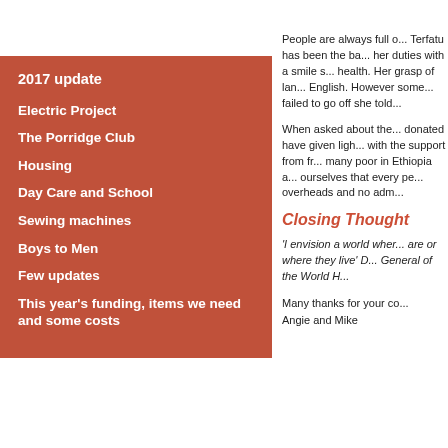< >
2017 update
Electric Project
The Porridge Club
Housing
Day Care and School
Sewing machines
Boys to Men
Few updates
This year's funding, items we need and some costs
People are always full of... Terfatu has been the ba... her duties with a smile s... health. Her grasp of lan... English. However some... failed to go off she told...
When asked about the... donated have given ligh... with the support from fr... many poor in Ethiopia a... ourselves that every pe... overheads and no adm...
Closing Thought
'I envision a world wher... are or where they live' D... General of the World H...
Many thanks for your co... Angie and Mike